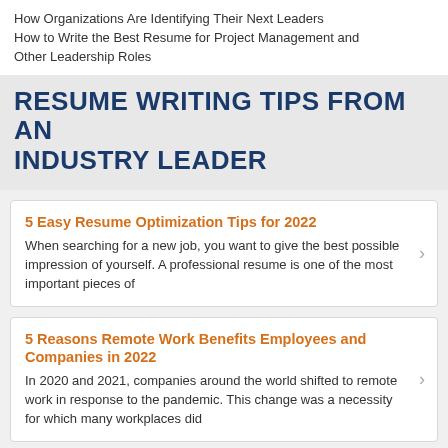How Organizations Are Identifying Their Next Leaders
How to Write the Best Resume for Project Management and Other Leadership Roles
RESUME WRITING TIPS FROM AN INDUSTRY LEADER
5 Easy Resume Optimization Tips for 2022
When searching for a new job, you want to give the best possible impression of yourself. A professional resume is one of the most important pieces of
5 Reasons Remote Work Benefits Employees and Companies in 2022
In 2020 and 2021, companies around the world shifted to remote work in response to the pandemic. This change was a necessity for which many workplaces did